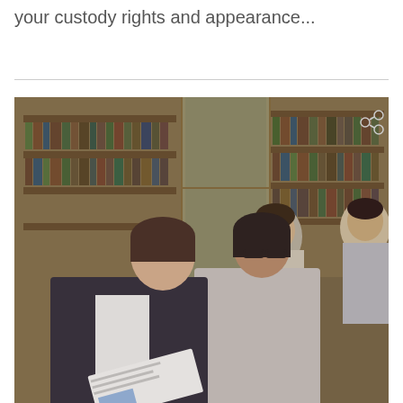your custody rights and appearance...
[Figure (photo): Lawyers in a law library: two women in business attire reviewing documents together; a man in a suit with a tie visible in the background; law books on shelves behind them.]